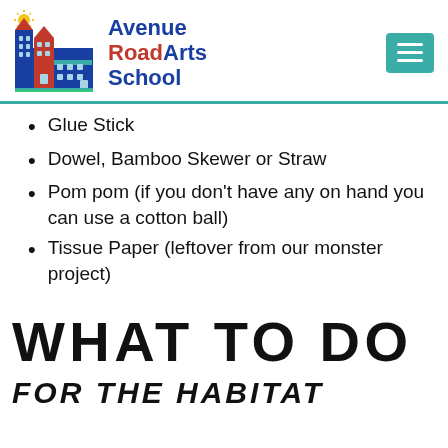[Figure (logo): Avenue Road Arts School logo with illustrated school building and sun]
Glue Stick
Dowel, Bamboo Skewer or Straw
Pom pom (if you don't have any on hand you can use a cotton ball)
Tissue Paper (leftover from our monster project)
WHAT TO DO
FOR THE HABITAT